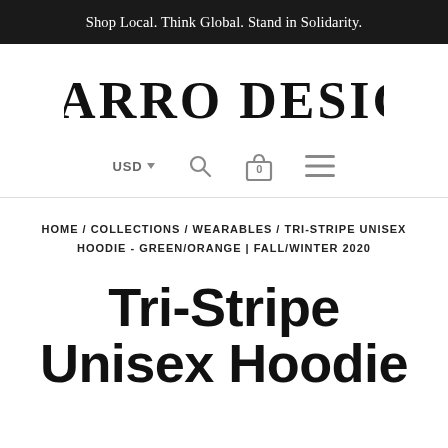Shop Local. Think Global. Stand in Solidarity.
[Figure (logo): Bizarro Designs decorative logo text in heavy blackletter/gothic style]
[Figure (infographic): Navigation bar with USD currency selector, search icon, cart icon with 0 badge, and hamburger menu icon]
HOME / COLLECTIONS / WEARABLES / TRI-STRIPE UNISEX HOODIE - GREEN/ORANGE | FALL/WINTER 2020
Tri-Stripe Unisex Hoodie